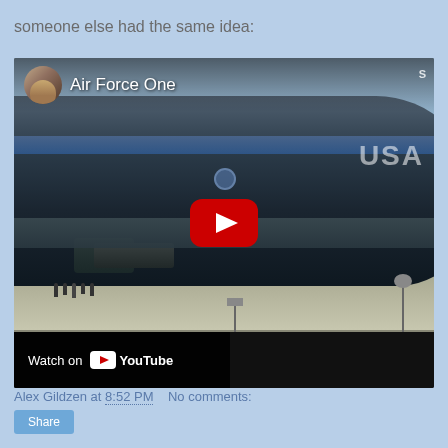someone else had the same idea:
[Figure (screenshot): Embedded YouTube video thumbnail showing Air Force One aircraft on a tarmac. Includes channel avatar, video title 'Air Force One', red YouTube play button, and 'Watch on YouTube' overlay bar at bottom left.]
Alex Gildzen at 8:52 PM    No comments:
Share